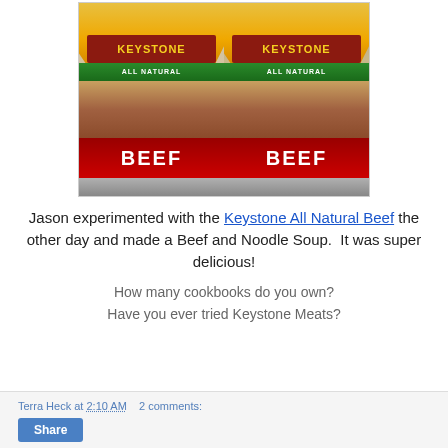[Figure (photo): Two cans of Keystone All Natural Beef sitting side by side on a counter]
Jason experimented with the Keystone All Natural Beef the other day and made a Beef and Noodle Soup. It was super delicious!
How many cookbooks do you own?
Have you ever tried Keystone Meats?
Terra Heck at 2:10 AM  2 comments:  Share